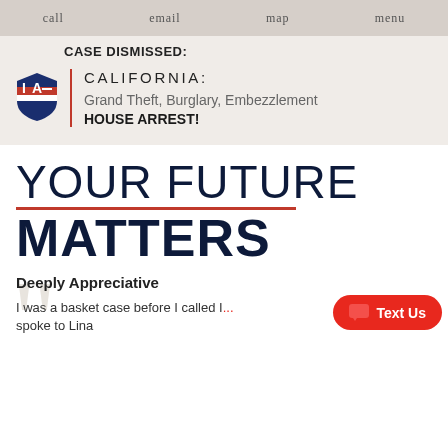call   email   map   menu
CASE DISMISSED:
[Figure (logo): IA law firm shield logo with red, white and blue colors]
CALIFORNIA:
Grand Theft, Burglary, Embezzlement
HOUSE ARREST!
YOUR FUTURE MATTERS
Deeply Appreciative
I was a basket case before I called I... spoke to Lina